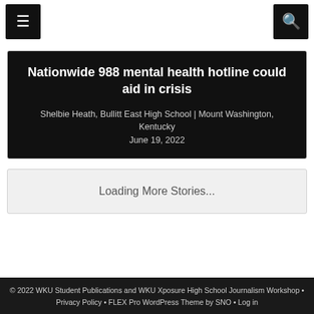[Figure (other): Navigation bar with hamburger menu icon on left and search icon on right, both in black square buttons]
Nationwide 988 mental health hotline could aid in crisis
Shelbie Heath, Bullitt East High School | Mount Washington, Kentucky
June 19, 2022
Loading More Stories...
© 2022 WKU Student Publications and WKU Xposure High School Journalism Workshop • Privacy Policy • FLEX Pro WordPress Theme by SNO • Log in